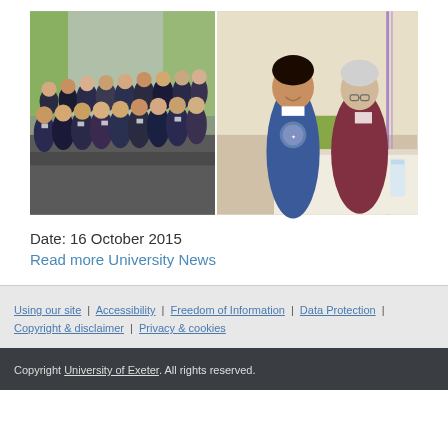[Figure (photo): Two side-by-side photos: left shows a large group of students and adults in navy uniforms/dark clothing in a room with green walls; right shows a young boy in school uniform talking with an older woman at a table.]
Date: 16 October 2015
Read more University News
Using our site | Accessibility | Freedom of Information | Data Protection | Copyright & disclaimer | Privacy & cookies
Copyright University of Exeter. All rights reserved.